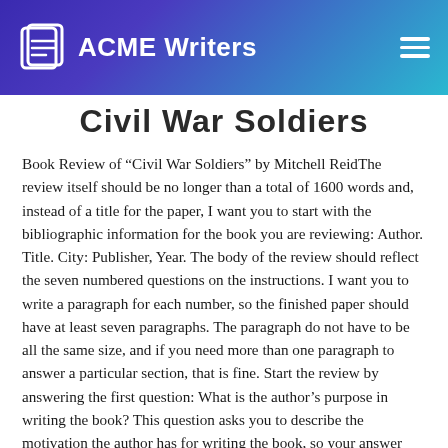ACME Writers
Civil War Soldiers
Book Review of “Civil War Soldiers” by Mitchell ReidThe review itself should be no longer than a total of 1600 words and, instead of a title for the paper, I want you to start with the bibliographic information for the book you are reviewing: Author. Title. City: Publisher, Year. The body of the review should reflect the seven numbered questions on the instructions. I want you to write a paragraph for each number, so the finished paper should have at least seven paragraphs. The paragraph do not have to be all the same size, and if you need more than one paragraph to answer a particular section, that is fine. Start the review by answering the first question: What is the author’s purpose in writing the book? This question asks you to describe the motivation the author has for writing the book, so your answer should use tentative verbs (the author seeks, desires, wishes, and so on). Oftentimes, authors explain their purpose in an